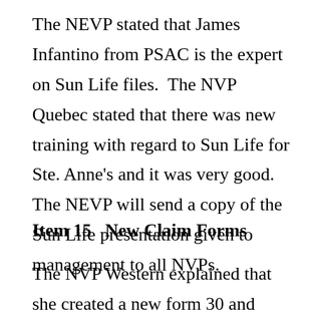The NEVP stated that James Infantino from PSAC is the expert on Sun Life files.  The NVP Quebec stated that there was new training with regard to Sun Life for Ste. Anne's and it was very good.  The NEVP will send a copy of the Sun Life presentation given to management to all NVPs.
Item 15   New Claim Forms
The NVP Western explained that she created a new form 30 and travel expense claim form